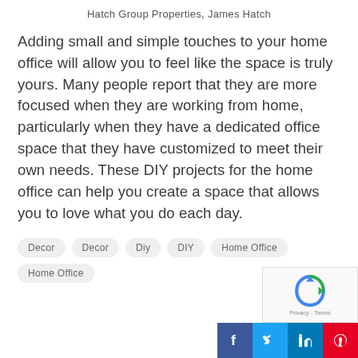Hatch Group Properties, James Hatch
Adding small and simple touches to your home office will allow you to feel like the space is truly yours. Many people report that they are more focused when they are working from home, particularly when they have a dedicated office space that they have customized to meet their own needs. These DIY projects for the home office can help you create a space that allows you to love what you do each day.
Decor
Decor
Diy
DIY
Home Office
Home Office